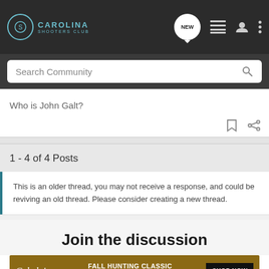[Figure (screenshot): Carolina Shooters Club navigation bar with logo, search icon, list icon, user icon, and more icon]
Search Community
Who is John Galt?
1 - 4 of 4 Posts
This is an older thread, you may not receive a response, and could be reviving an old thread. Please consider creating a new thread.
Join the discussion
[Figure (other): Cabela's Fall Hunting Classic advertisement banner - Save up to 30% - Shop Now]